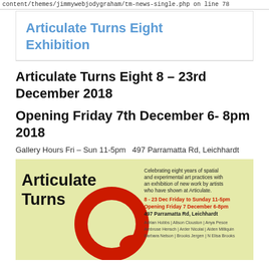content/themes/jimmywebjodygraham/tm-news-single.php on line 78
Articulate Turns Eight Exhibition
Articulate Turns Eight 8 – 23rd December 2018
Opening Friday 7th December 6- 8pm 2018
Gallery Hours Fri – Sun 11-5pm  497 Parramatta Rd, Leichhardt
[Figure (illustration): Poster for Articulate Turns Eight exhibition on a yellow-green background. Large bold black text reads 'Articulate Turns' with a large red letter Q graphic. Right side text: 'Celebrating eight years of spatial and experimental art practices with an exhibition of new work by artists who have shown at Articulate.' followed in red text '8 - 23 Dec Friday to Sunday 11-5pm Opening Friday 7 December 6-8pm 497 Parramatta Rd, Leichhardt' followed by list of artist names.]